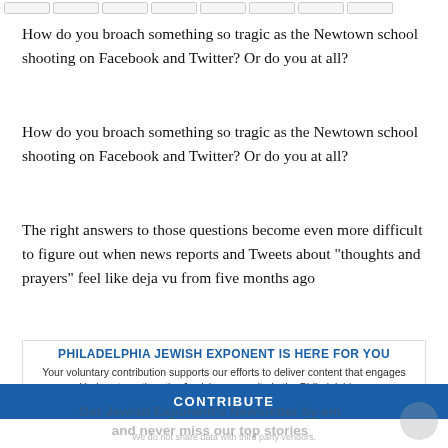[navigation tabs]
How do you broach something so tragic as the Newtown school shooting on Facebook and Twitter? Or do you at all?
How do you broach something so tragic as the Newtown school shooting on Facebook and Twitter? Or do you at all?
The right answers to those questions become even more difficult to figure out when news reports and Tweets about "thoughts and prayers" feel like deja vu from five months ago
when a shooter disrupted the calm of a movie theater, killing 12
PHILADELPHIA JEWISH EXPONENT IS HERE FOR YOU
Your voluntary contribution supports our efforts to deliver content that engages and helps strengthen the Jewish community in the Philadelphia area.
CONTRIBUTE
Get Jewish Exponent's Newsletter by em and never miss our top stories
We do not share data with third party vendors.